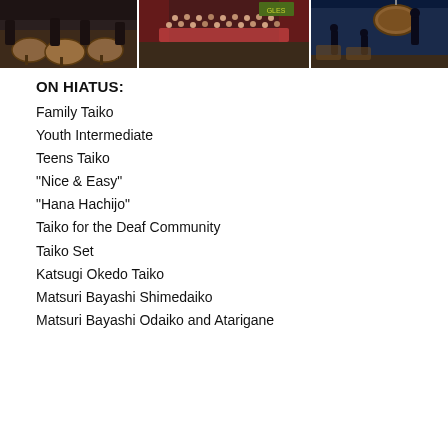[Figure (photo): Three photos side by side showing taiko drum performances and group photos in a school gymnasium setting]
ON HIATUS:
Family Taiko
Youth Intermediate
Teens Taiko
“Nice & Easy”
“Hana Hachijo”
Taiko for the Deaf Community
Taiko Set
Katsugi Okedo Taiko
Matsuri Bayashi Shimedaiko
Matsuri Bayashi Odaiko and Atarigane